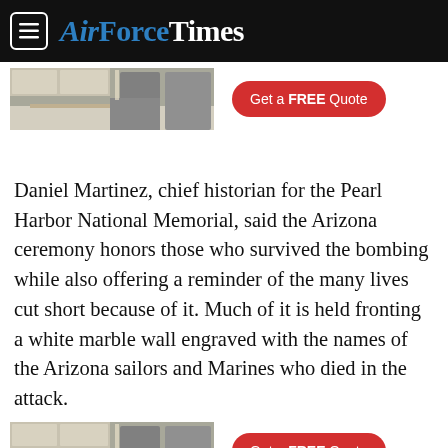AirForceTimes
[Figure (other): Advertisement banner showing a kitchen with appliances and a red pill-shaped button reading 'Get a FREE Quote']
Daniel Martinez, chief historian for the Pearl Harbor National Memorial, said the Arizona ceremony honors those who survived the bombing while also offering a reminder of the many lives cut short because of it. Much of it is held fronting a white marble wall engraved with the names of the Arizona sailors and Marines who died in the attack.
[Figure (other): Advertisement banner showing a kitchen with appliances and a red pill-shaped button reading 'Get a FREE Quote']